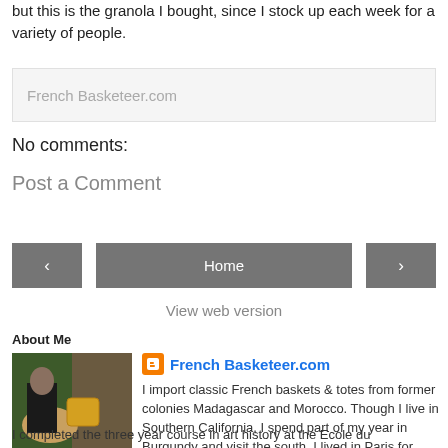but this is the granola I bought, since I stock up each week for a variety of people.
French Basketeer.com
No comments:
Post a Comment
Home
View web version
About Me
[Figure (photo): Profile photo showing a person with a yellow basket and a golden retriever dog outdoors]
French Basketeer.com
I import classic French baskets & totes from former colonies Madagascar and Morocco. Though I live in Southern California, I spend part of my year in Burgundy and visit the south. I lived in Paris for several years while I completed the three year course in art history at the Ecole du